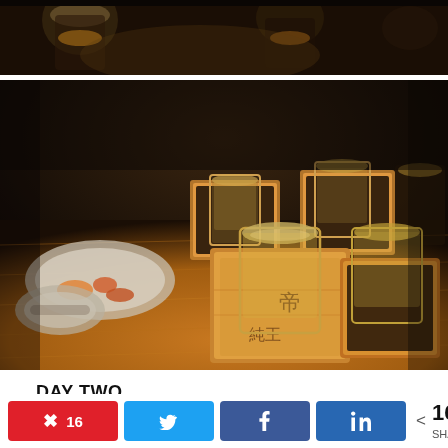[Figure (photo): Partial top photo showing glasses of drinks on a dark background (cropped top portion visible)]
[Figure (photo): Photo of Japanese sake served in traditional wooden masu boxes with small glass cups, placed on a wooden table with small dishes of food in the background]
DAY TWO
The original plan for our second day was to drive
[Figure (infographic): Social share bar with Pinterest (16), Twitter, Facebook, LinkedIn buttons and total share count of 16 SHARES]